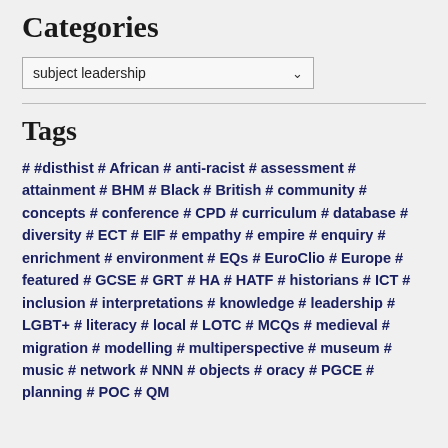Categories
subject leadership
Tags
# #disthist # African # anti-racist # assessment # attainment # BHM # Black # British # community # concepts # conference # CPD # curriculum # database # diversity # ECT # EIF # empathy # empire # enquiry # enrichment # environment # EQs # EuroClio # Europe # featured # GCSE # GRT # HA # HATF # historians # ICT # inclusion # interpretations # knowledge # leadership # LGBT+ # literacy # local # LOTC # MCQs # medieval # migration # modelling # multiperspective # museum # music # network # NNN # objects # oracy # PGCE # planning # POC # QM